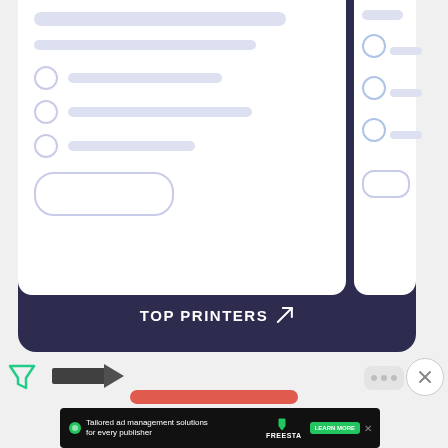[Figure (screenshot): A dark navy blue card UI element showing a white panel with radio buttons and placeholder bars, a 'TOP PRINTERS' label with arrow icon at the bottom, and a partial second panel on the right edge.]
[Figure (screenshot): Browser toolbar area showing a filter/funnel icon, a dark logo, a red bar, a close (X) circle button, and a dots/cloud icon.]
[Figure (screenshot): Advertisement banner: 'Tailored ad management solutions for every publisher' with Freestar logo, Learn More button, and close X.]